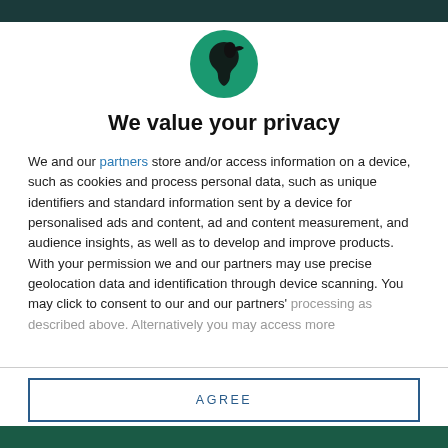[Figure (logo): Circular green logo with a dark silhouette of a figure/bird facing right]
We value your privacy
We and our partners store and/or access information on a device, such as cookies and process personal data, such as unique identifiers and standard information sent by a device for personalised ads and content, ad and content measurement, and audience insights, as well as to develop and improve products. With your permission we and our partners may use precise geolocation data and identification through device scanning. You may click to consent to our and our partners' processing as described above. Alternatively you may access more
AGREE
MORE OPTIONS